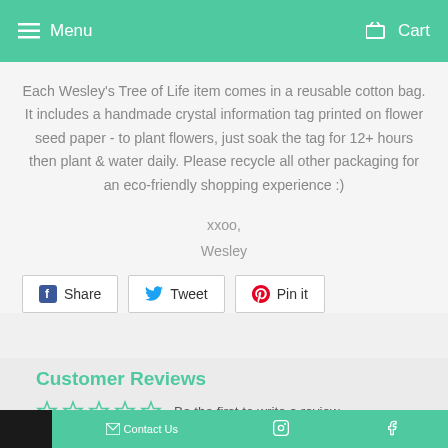Menu   Cart
Each Wesley's Tree of Life item comes in a reusable cotton bag. It includes a handmade crystal information tag printed on flower seed paper - to plant flowers, just soak the tag for 12+ hours then plant & water daily. Please recycle all other packaging for an eco-friendly shopping experience :)
xxoo,
Wesley
[Figure (other): Social share buttons: Share (Facebook), Tweet (Twitter), Pin it (Pinterest)]
Customer Reviews
Be the first to write a review
Contact Us   [Instagram]   [Facebook]